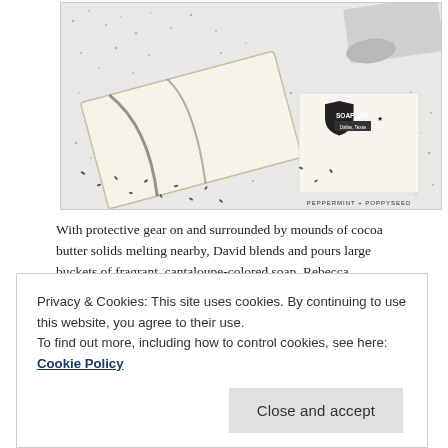[Figure (photo): A product photo of Soap Girl brand Peppermint + Poppyseed soap bars on a white speckled surface with poppy seeds scattered around. A measuring spoon is visible in the upper right corner. The soap label shows 'SOAPGIRL Dallas, Texas PEPPERMINT + POPPYSEED'.]
With protective gear on and surrounded by mounds of cocoa butter solids melting nearby, David blends and pours large buckets of fragrant, cantaloupe-colored soap. Rebecca sprinkles salt on the exposed ends of the soaps.
Privacy & Cookies: This site uses cookies. By continuing to use this website, you agree to their use.
To find out more, including how to control cookies, see here: Cookie Policy
Close and accept